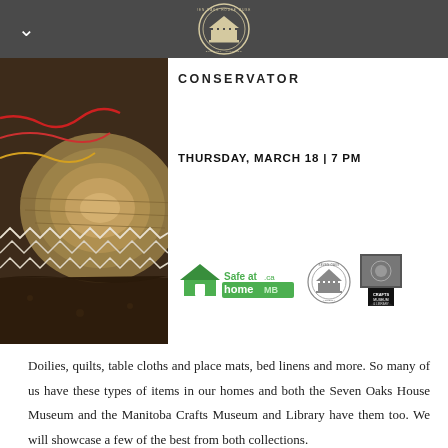CONSERVATOR
THURSDAY, MARCH 18 | 7 PM
[Figure (photo): Close-up photograph of handmade fabric with colorful embroidery and lacework, showing a woven hat or textile with red and gold decorative stitching]
[Figure (logo): Safe at Home MB.ca logo in green and white]
[Figure (logo): Seven Oaks House Museum circular seal/emblem]
[Figure (logo): Manitoba Crafts Museum and Library logo with bookmark icon]
Doilies, quilts, table cloths and place mats, bed linens and more. So many of us have these types of items in our homes and both the Seven Oaks House Museum and the Manitoba Crafts Museum and Library have them too. We will showcase a few of the best from both collections.